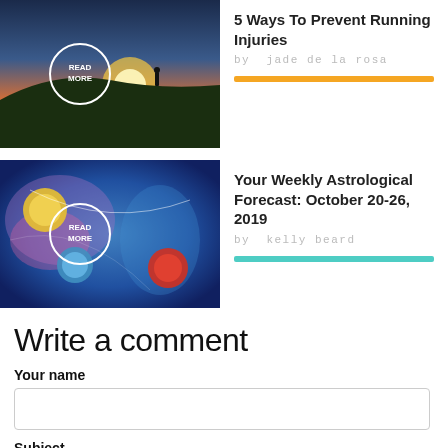[Figure (photo): Sunset landscape photo with person silhouette and READ MORE circle overlay]
5 Ways To Prevent Running Injuries
by  jade de la rosa
[Figure (photo): Colorful cosmic/space art with planets and READ MORE circle overlay]
Your Weekly Astrological Forecast: October 20-26, 2019
by  kelly beard
Write a comment
Your name
Subject